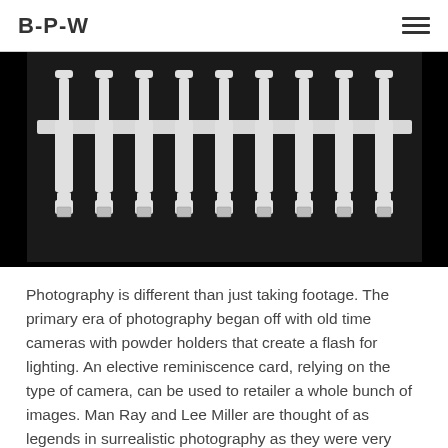B-P-W
[Figure (photo): Black and white photograph showing a row of decorative balusters or spindles arranged in a line, with small tags or cards attached, photographed against a dark background.]
Photography is different than just taking footage. The primary era of photography began off with old time cameras with powder holders that create a flash for lighting. An elective reminiscence card, relying on the type of camera, can be used to retailer a whole bunch of images. Man Ray and Lee Miller are thought of as legends in surrealistic photography as they were very successful to beat the restrictions of photography to